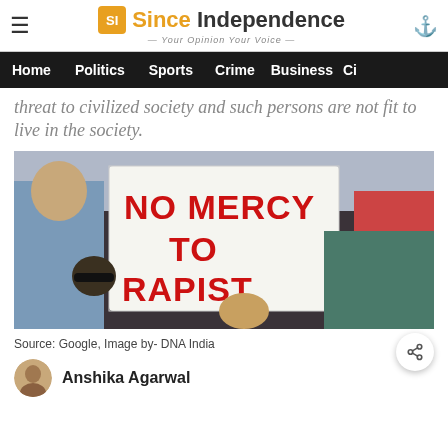Since Independence — Your Opinion Your Voice
Home | Politics | Sports | Crime | Business | Ci
threat to civilized society and such persons are not fit to live in the society.
[Figure (photo): Protest photo showing a person holding a white sign with red text reading 'NO MERCY TO RAPIST']
Source: Google, Image by- DNA India
Anshika Agarwal